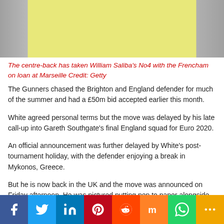[Figure (photo): Photo of person wearing yellow/lime coloured top, partially visible at top of page]
The centre-back has taken William Saliba's No4 with the Frencham on loan at Marseille Credit: Getty
The Gunners chased the Brighton and England defender for much of the summer and had a £50m bid accepted earlier this month.
White agreed personal terms but the move was delayed by his late call-up into Gareth Southgate's final England squad for Euro 2020.
An official announcement was further delayed by White's post-tournament holiday, with the defender enjoying a break in Mykonos, Greece.
But he is now back in the UK and the move was announced on Friday afternoon. He was pictured putting pen to paper alongside his agent Alex Levack.
Social share buttons: Facebook, Twitter, LinkedIn, Pinterest, Reddit, Mix, WhatsApp, More